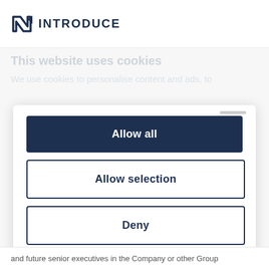[Figure (logo): Introduce company logo with angular N arrow icon and the word INTRODUCE in dark navy bold text]
This website uses cookies
We use cookies to personalise content and ads, to
[Figure (screenshot): Cookie consent modal with three buttons: Allow all (dark navy filled), Allow selection (outlined), Deny (outlined), and a Cookiebot by Usercentrics footer]
Powered by Cookiebot by Usercentrics
and future senior executives in the Company or other Group